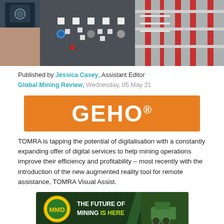[Figure (photo): Top image showing a hand holding a smartphone on the left side with a dark industrial control panel with buttons and knobs, and red/grey industrial equipment on the right side]
Published by Jessica Casey, Assistant Editor
Global Mining Review, Wednesday, 05 May 21
[Figure (logo): GEHO® orange banner logo with white bold text on orange background]
TOMRA is tapping the potential of digitalisation with a constantly expanding offer of digital services to help mining operations improve their efficiency and profitability – most recently with the introduction of the new augmented reality tool for remote assistance, TOMRA Visual Assist.
[Figure (logo): MMD Mining banner advertisement: dark green background with MMD circular logo on left, text THE FUTURE OF MINING IS HERE in white and yellow-green, and green mining machinery on right]
In a challenging market, mining companies under increasing